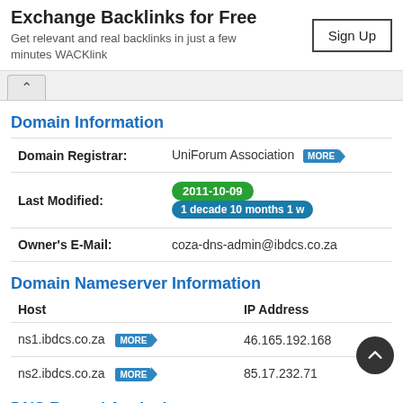Exchange Backlinks for Free — Get relevant and real backlinks in just a few minutes WACKlink
Domain Information
| Field | Value |
| --- | --- |
| Domain Registrar: | UniForum Association MORE |
| Last Modified: | 2011-10-09   1 decade 10 months 1 w |
| Owner's E-Mail: | coza-dns-admin@ibdcs.co.za |
Domain Nameserver Information
| Host | IP Address |
| --- | --- |
| ns1.ibdcs.co.za  MORE | 46.165.192.168 |
| ns2.ibdcs.co.za  MORE | 85.17.232.71 |
DNS Record Analysis